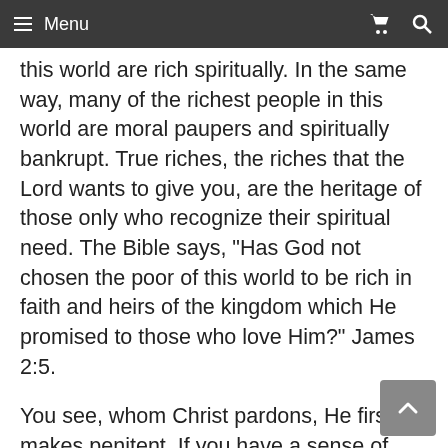Menu
this world are rich spiritually. In the same way, many of the richest people in this world are moral paupers and spiritually bankrupt. True riches, the riches that the Lord wants to give you, are the heritage of those only who recognize their spiritual need. The Bible says, “Has God not chosen the poor of this world to be rich in faith and heirs of the kingdom which He promised to those who love Him?” James 2:5.
You see, whom Christ pardons, He first makes penitent. If you have a sense of your deep soul poverty, if you know that you don’t have anything good in yourself, the apostle Paul says, “I know that in me, that is in my flesh, there dwells no good thing.” If you know that you have no goodness of your own, you may find